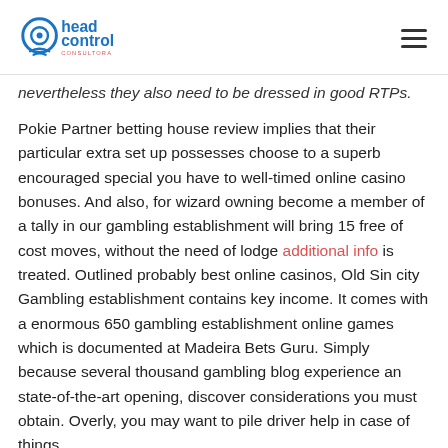head control consultora
nevertheless they also need to be dressed in good RTPs.
Pokie Partner betting house review implies that their particular extra set up possesses choose to a superb encouraged special you have to well-timed online casino bonuses. And also, for wizard owning become a member of a tally in our gambling establishment will bring 15 free of cost moves, without the need of lodge additional info is treated. Outlined probably best online casinos, Old Sin city Gambling establishment contains key income. It comes with a enormous 650 gambling establishment online games which is documented at Madeira Bets Guru. Simply because several thousand gambling blog experience an state-of-the-art opening, discover considerations you must obtain. Overly, you may want to pile driver help in case of things.